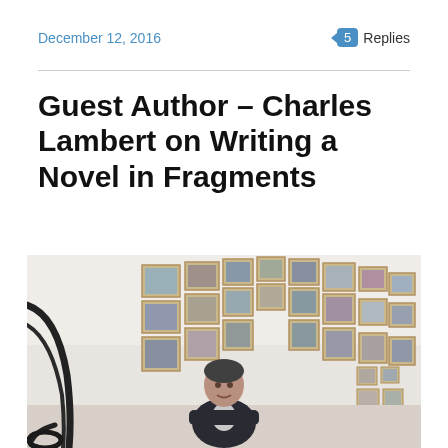December 12, 2016
5 Replies
Guest Author – Charles Lambert on Writing a Novel in Fragments
[Figure (photo): A man in a dark blazer sitting in front of a large wall display of many framed photographs arranged in a wave pattern, with a wrought-iron staircase railing visible on the left.]